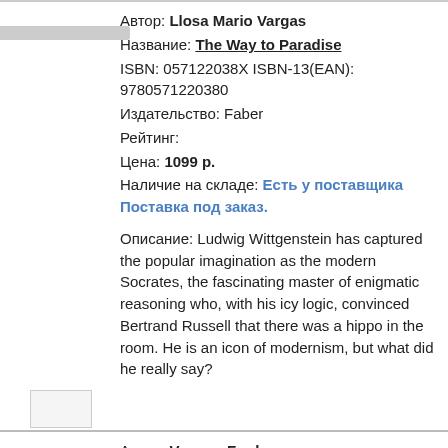[Figure (other): Small book thumbnail placeholder box at top]
Автор: Llosa Mario Vargas
Название: The Way to Paradise
ISBN: 057122038X ISBN-13(EAN): 9780571220380
Издательство: Faber
Рейтинг:
Цена: 1099 p.
Наличие на складе: Есть у поставщика Поставка под заказ.

Описание: Ludwig Wittgenstein has captured the popular imagination as the modern Socrates, the fascinating master of enigmatic reasoning who, with his icy logic, convinced Bertrand Russell that there was a hippo in the room. He is an icon of modernism, but what did he really say?
[Figure (other): Small book thumbnail placeholder box at bottom of first entry]
Автор: Vargas, Fred
Название: Uncertain Place, An
ISBN: 1846554454 ISBN-13(EAN): 9781846554452
Издательство: Random House - Penguin
Рейтинг: